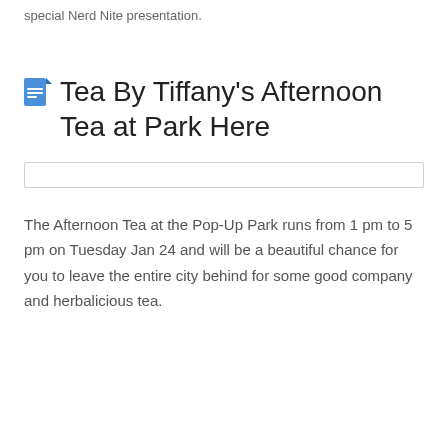special Nerd Nite presentation.
Tea By Tiffany's Afternoon Tea at Park Here
The Afternoon Tea at the Pop-Up Park runs from 1 pm to 5 pm on Tuesday Jan 24 and will be a beautiful chance for you to leave the entire city behind for some good company and herbalicious tea.